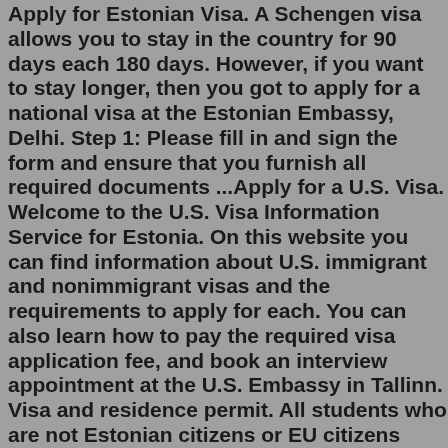Apply for Estonian Visa. A Schengen visa allows you to stay in the country for 90 days each 180 days. However, if you want to stay longer, then you got to apply for a national visa at the Estonian Embassy, Delhi. Step 1: Please fill in and sign the form and ensure that you furnish all required documents ...Apply for a U.S. Visa. Welcome to the U.S. Visa Information Service for Estonia. On this website you can find information about U.S. immigrant and nonimmigrant visas and the requirements to apply for each. You can also learn how to pay the required visa application fee, and book an interview appointment at the U.S. Embassy in Tallinn. Visa and residence permit. All students who are not Estonian citizens or EU citizens (including EEA countries and Switzerland) need a temporary residence permit to study on a full degree programme. EU citizens should obtain a temporary right of residence in Estonia. The visa and residence permit application process will usually begin after ... Via Ben Sweet / Unsplash.